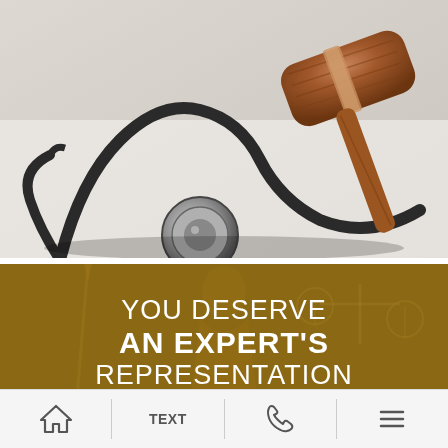[Figure (photo): Close-up photo of a wooden judge's gavel and a silver stethoscope resting on a white surface, representing medical-legal topics.]
[Figure (infographic): Brown/tan tinted banner with a faded Lady Justice figure in the background. White text reads: YOU DESERVE AN EXPERT'S REPRESENTATION]
YOU DESERVE AN EXPERT'S REPRESENTATION
Home | TEXT | Phone | Menu